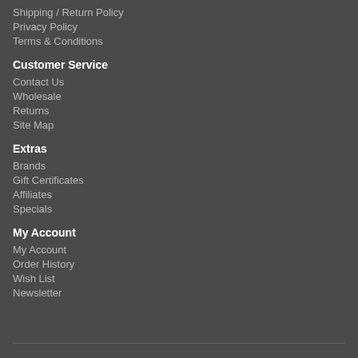Shipping / Return Policy
Privacy Policy
Terms & Conditions
Customer Service
Contact Us
Wholesale
Returns
Site Map
Extras
Brands
Gift Certificates
Affiliates
Specials
My Account
My Account
Order History
Wish List
Newsletter